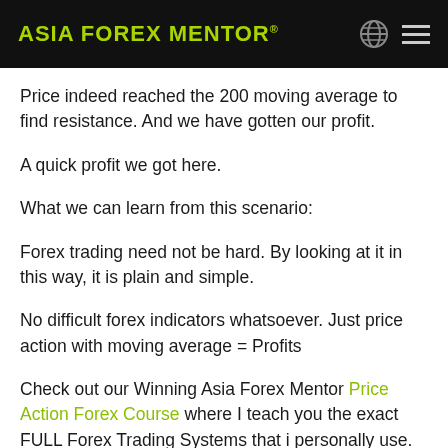ASIA FOREX MENTOR®
Price indeed reached the 200 moving average to find resistance. And we have gotten our profit.
A quick profit we got here.
What we can learn from this scenario:
Forex trading need not be hard. By looking at it in this way, it is plain and simple.
No difficult forex indicators whatsoever. Just price action with moving average = Profits
Check out our Winning Asia Forex Mentor Price Action Forex Course where I teach you the exact FULL Forex Trading Systems that i personally use.